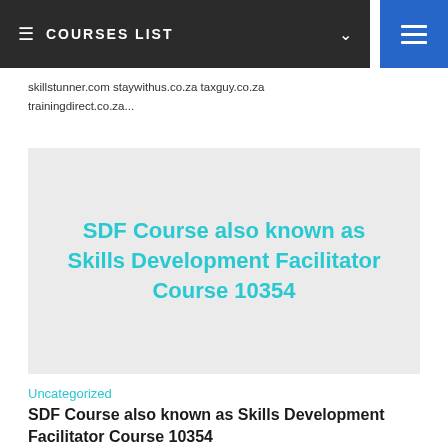≡  COURSES LIST  ∨
skillstunner.com staywithus.co.za taxguy.co.za trainingdirect.co.za...
[Figure (other): Grey banner card with cyan/teal bold title text: 'SDF Course also known as Skills Development Facilitator Course 10354']
Uncategorized
SDF Course also known as Skills Development Facilitator Course 10354
POE building: We don't take any short-cuts such as POE building in the above and follow all the guidelines attested...